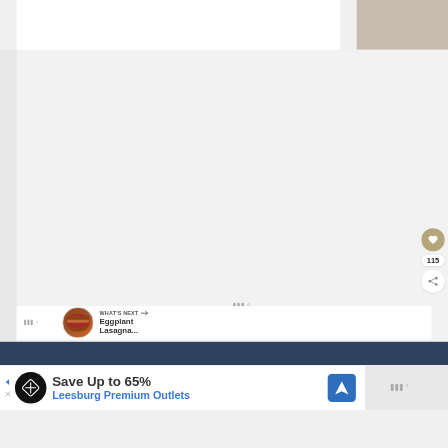[Figure (screenshot): Website screenshot showing a recipe page with a large white/light gray content area. On the right side there is a tan/beige colored panel at the top. A circular heart/favorite button in tan color appears on the right edge, below it shows the number 115, and a share button (circle with share icon). A 'WHAT'S NEXT' bar appears near the bottom with an arrow, food thumbnail image, and text 'Eggplant Lasagna...' A dark navy blue banner bar is below that. At the bottom is an advertisement banner for 'Leesburg Premium Outlets' with 'Save Up to 65%' text, showing a black circular logo, blue navigation icon, and partially visible right section. Weather/temperature icons appear in the content area. Small close (X) and back arrow icons are visible in the ad.]
115
WHAT'S NEXT →
Eggplant Lasagna...
Save Up to 65%
Leesburg Premium Outlets